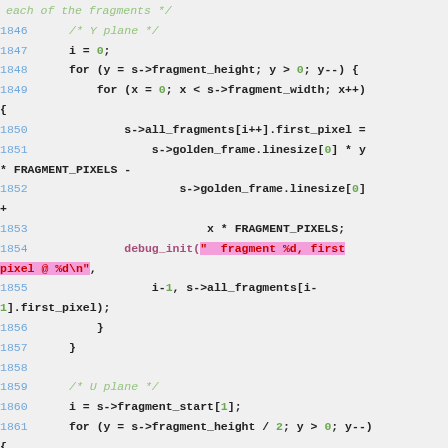Code listing lines 1846-1862, C source code with syntax highlighting showing fragment pixel initialization for Y and U planes